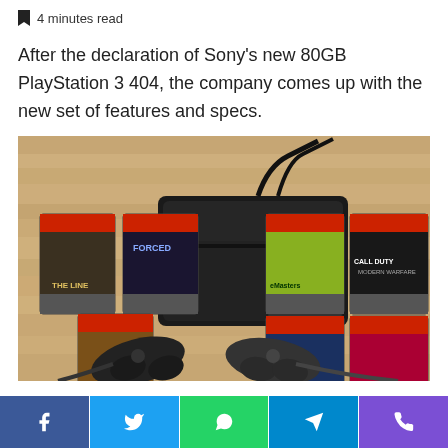4 minutes read
After the declaration of Sony's new 80GB PlayStation 3 404, the company comes up with the new set of features and specs.
[Figure (photo): PlayStation 3 console with two controllers, power cord coiled on top, and six PS3 game cases arranged around it on a wooden floor.]
Social share bar with Facebook, Twitter, WhatsApp, Telegram, and phone/call icons